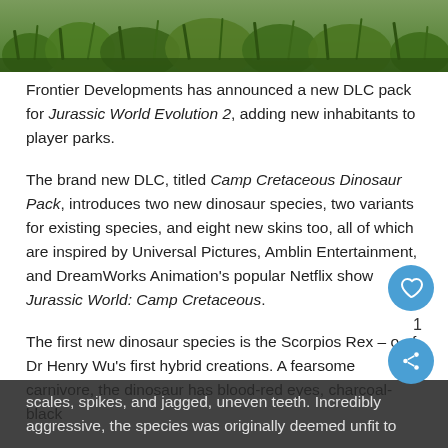[Figure (photo): Photograph of green grass and foliage, cropped to a horizontal strip at the top of the page]
Frontier Developments has announced a new DLC pack for Jurassic World Evolution 2, adding new inhabitants to player parks.
The brand new DLC, titled Camp Cretaceous Dinosaur Pack, introduces two new dinosaur species, two variants for existing species, and eight new skins too, all of which are inspired by Universal Pictures, Amblin Entertainment, and DreamWorks Animation's popular Netflix show Jurassic World: Camp Cretaceous.
The first new dinosaur species is the Scorpios Rex – o of Dr Henry Wu's first hybrid creations. A fearsome carnivore, the dinosaur has blood-red eyes, charcoal-black scales, spikes, and jagged, uneven teeth. Incredibly aggressive, the species was originally deemed unfit to